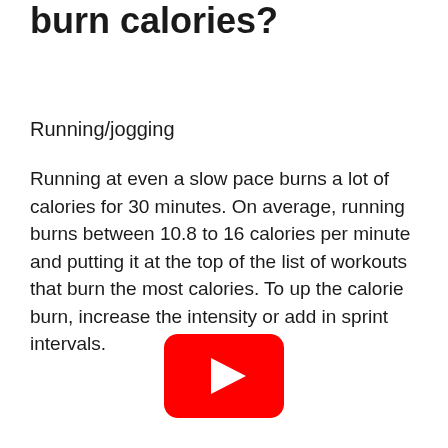burn calories?
Running/jogging
Running at even a slow pace burns a lot of calories for 30 minutes. On average, running burns between 10.8 to 16 calories per minute and putting it at the top of the list of workouts that burn the most calories. To up the calorie burn, increase the intensity or add in sprint intervals.
[Figure (logo): YouTube play button logo — red rounded rectangle with white triangle play icon]